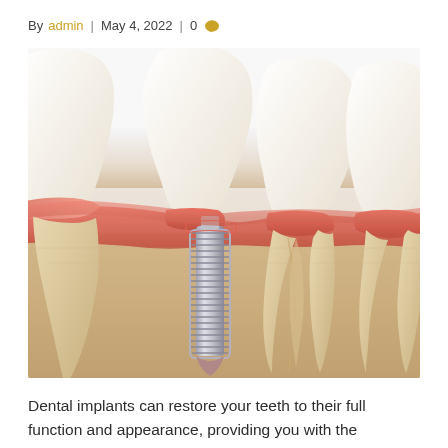By admin | May 4, 2022 | 0
[Figure (photo): Medical illustration showing a cross-section of a dental implant (titanium screw post) inserted into the jawbone, flanked by natural teeth with visible roots and gum tissue. The implant has a white crown on top and a silver threaded post embedded in the bone.]
Dental implants can restore your teeth to their full function and appearance, providing you with the